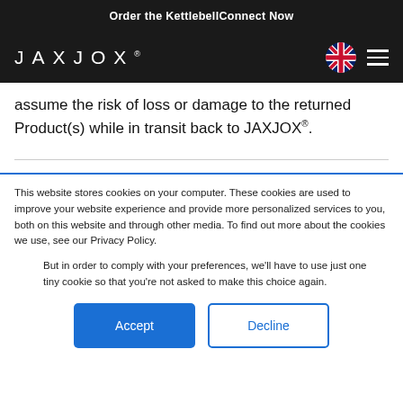Order the KettlebellConnect Now
[Figure (logo): JAXJOX logo with registered trademark, white text on dark background, with UK flag icon and hamburger menu]
assume the risk of loss or damage to the returned Product(s) while in transit back to JAXJOX®.
This website stores cookies on your computer. These cookies are used to improve your website experience and provide more personalized services to you, both on this website and through other media. To find out more about the cookies we use, see our Privacy Policy.
But in order to comply with your preferences, we'll have to use just one tiny cookie so that you're not asked to make this choice again.